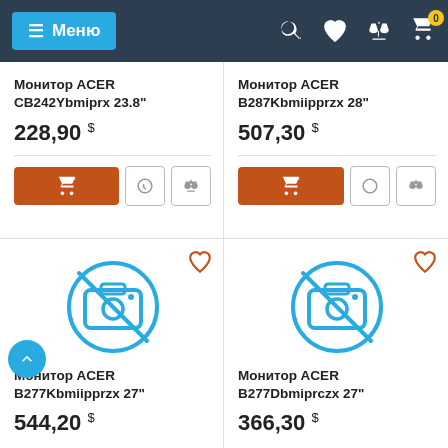≡ Меню
Монитор ACER CB242Ybmiprx 23.8"
228,90 $
Монитор ACER B287Kbmiipprzx 28"
507,30 $
[Figure (illustration): No image placeholder — circle with camera crossed out (blue outline)]
Монитор ACER B277Kbmiipprzx 27"
544,20 $
[Figure (illustration): No image placeholder — circle with camera crossed out (blue outline)]
Монитор ACER B277Dbmiprczx 27"
366,30 $